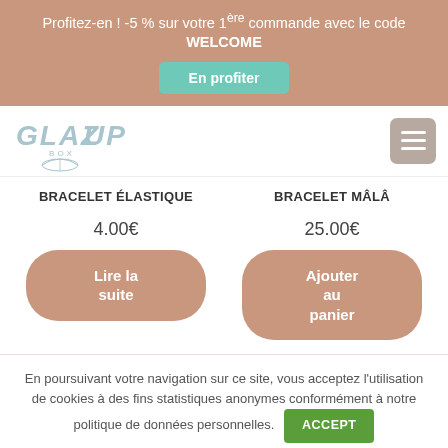Profitez-en ! -5 % sur votre 1ère commande avec le code WELCOME
En profiter
[Figure (logo): GLAZUP BOX logo with teal/blue text and leaf illustration]
BRACELET ÉLASTIQUE
BRACELET MÂLÂ
4.00€
25.00€
Lire la suite
Ajouter au panier
En poursuivant votre navigation sur ce site, vous acceptez l'utilisation de cookies à des fins statistiques anonymes conformément à notre politique de données personnelles.
ACCEPT